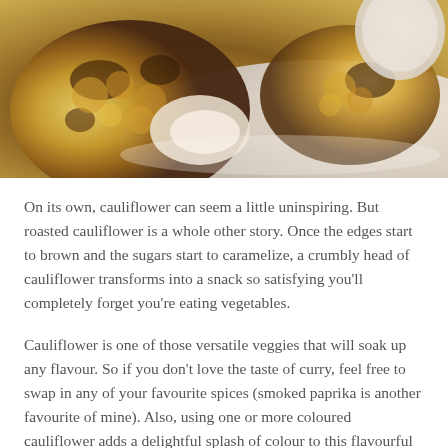[Figure (photo): Close-up photo of roasted cauliflower florets with golden-brown caramelized edges on a white plate, with a dipping sauce in the background. Warm tones of yellow, brown, and white.]
On its own, cauliflower can seem a little uninspiring. But roasted cauliflower is a whole other story. Once the edges start to brown and the sugars start to caramelize, a crumbly head of cauliflower transforms into a snack so satisfying you'll completely forget you're eating vegetables.
Cauliflower is one of those versatile veggies that will soak up any flavour. So if you don't love the taste of curry, feel free to swap in any of your favourite spices (smoked paprika is another favourite of mine). Also, using one or more coloured cauliflower adds a delightful splash of colour to this flavourful dish.